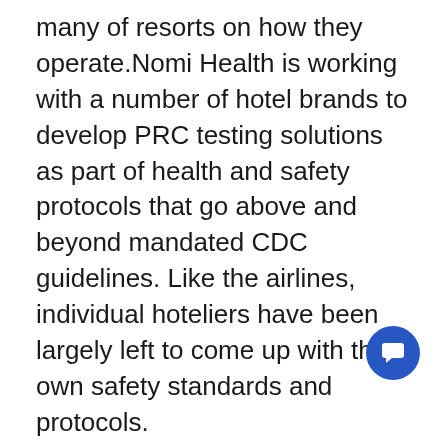many of resorts on how they operate.Nomi Health is working with a number of hotel brands to develop PRC testing solutions as part of health and safety protocols that go above and beyond mandated CDC guidelines. Like the airlines, individual hoteliers have been largely left to come up with their own safety standards and protocols.
Marriott's "Commitment to Clean" program makes mask wearing mandatory across the hotel conglomerate's 30 individual brands hotels within North America, the Caribbean, and Latin America.  It also specifies the use of